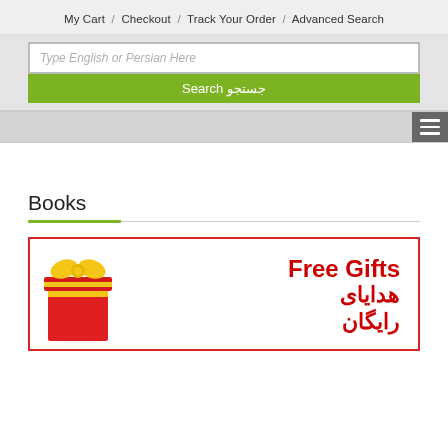My Cart / Checkout / Track Your Order / Advanced Search
Type English or Persian Here
Search جستجو
Books
[Figure (illustration): Promotional card with red border showing a gift box icon on the left and text 'Free Gifts' in English and 'هدایای رایگان' in Persian/Farsi in red bold text on the right.]